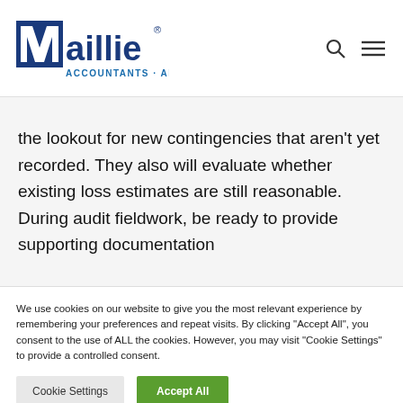Maillie Accountants · Advisors
the lookout for new contingencies that aren't yet recorded. They also will evaluate whether existing loss estimates are still reasonable. During audit fieldwork, be ready to provide supporting documentation
We use cookies on our website to give you the most relevant experience by remembering your preferences and repeat visits. By clicking "Accept All", you consent to the use of ALL the cookies. However, you may visit "Cookie Settings" to provide a controlled consent.